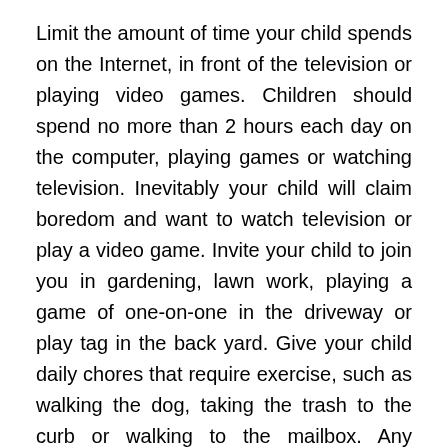Limit the amount of time your child spends on the Internet, in front of the television or playing video games. Children should spend no more than 2 hours each day on the computer, playing games or watching television. Inevitably your child will claim boredom and want to watch television or play a video game. Invite your child to join you in gardening, lawn work, playing a game of one-on-one in the driveway or play tag in the back yard. Give your child daily chores that require exercise, such as walking the dog, taking the trash to the curb or walking to the mailbox. Any amount of exercise is better than no exercise. Don't put a television in your child's bedroom. Kids tend to head straight for their bedroom after visiting the refrigerator for a snack where they lounge on the bed doing homework with the television turned on. Create a schedule that gets your child moving. Busy families can schedule one day each